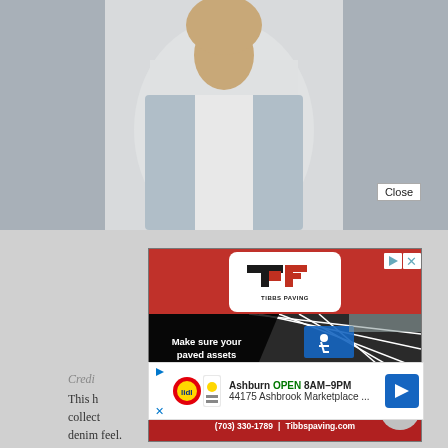[Figure (photo): Person wearing white/light blue outfit, upper body, blurred background — webpage background photo]
Close
[Figure (infographic): Tibbs Paving advertisement. Red header with white logo box showing stylized T-P letter mark and text TIBBS PAVING. Black section with photo of ADA-compliant handicap parking spaces and overlay text: Make sure your paved assets are ADA Compliant. Red footer with phone (703) 330-1789 | Tibbspaving.com]
Credi
This h
collect
denim feel.
[Figure (infographic): Lidl store ad: Ashburn OPEN 8AM-9PM, 44175 Ashbrook Marketplace ... with navigation arrow icon and Lidl/store logo]